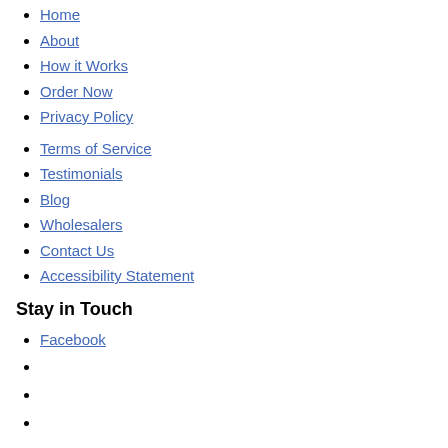Home
About
How it Works
Order Now
Privacy Policy
Terms of Service
Testimonials
Blog
Wholesalers
Contact Us
Accessibility Statement
Stay in Touch
Facebook